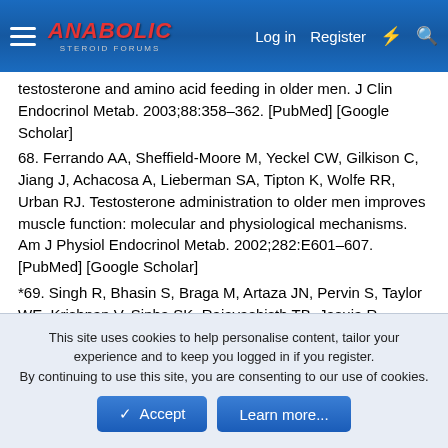Anabolic Steroid Forums — Log in | Register
testosterone and amino acid feeding in older men. J Clin Endocrinol Metab. 2003;88:358–362. [PubMed] [Google Scholar]
68. Ferrando AA, Sheffield-Moore M, Yeckel CW, Gilkison C, Jiang J, Achacosa A, Lieberman SA, Tipton K, Wolfe RR, Urban RJ. Testosterone administration to older men improves muscle function: molecular and physiological mechanisms. Am J Physiol Endocrinol Metab. 2002;282:E601–607. [PubMed] [Google Scholar]
*69. Singh R, Bhasin S, Braga M, Artaza JN, Pervin S, Taylor WE, Krishnan V, Sinha SK, Rajavashisth TB, Jasuja R. Regulation of Myogenic Differentiation by Androgens: Cross-Talk between Androgen Receptor/{beta}-Catenin and Follistatin/TGF-{beta} Signaling Pathways. Endocrinology.
This site uses cookies to help personalise content, tailor your experience and to keep you logged in if you register.
By continuing to use this site, you are consenting to our use of cookies.